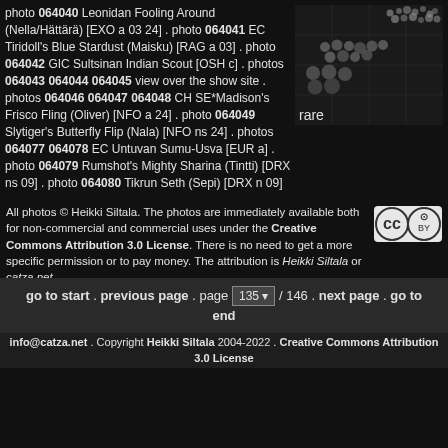photo 064040 Leonidan Fooling Around (Nella/Hättärä) [EXO a 03 24] . photo 064041 EC Tiridoll's Blue Stardust (Maisku) [RAG a 03] . photo 064042 GIC Sultsinan Indian Scout [OSH c] . photos 064043 064044 064045 view over the show site . photos 064046 064047 064048 CH SE*Madison's Frisco Fling (Oliver) [NFO a 24] . photo 064049 Slytiger's Butterfly Flip (Nala) [NFO ns 24] . photos 064077 064078 EC Untuvan Sumu-Usva [EUR a] . photo 064079 Rumshot's Mighty Sharina (Tintti) [DRX ns 09] . photo 064080 Tikrun Seth (Sepi) [DRX n 09]
[Figure (other): Scatter plot showing dots labeled 'rare' on dark background]
All photos © Heikki Siltala. The photos are immediately available both for non-commercial and commercial uses under the Creative Commons Attribution 3.0 License. There is no need to get a more specific permission or to pay money. The attribution is Heikki Siltala or catza.net.
go to start . previous page . page 135 / 146 . next page . go to end
info@catza.net . Copyright Heikki Siltala 2004-2022 . Creative Commons Attribution 3.0 License